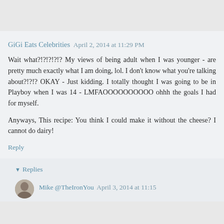GiGi Eats Celebrities  April 2, 2014 at 11:29 PM
Wait what?!?!?!?!? My views of being adult when I was younger - are pretty much exactly what I am doing, lol. I don't know what you're talking about?!?!? OKAY - Just kidding. I totally thought I was going to be in Playboy when I was 14 - LMFAOOOOOOOOOO ohhh the goals I had for myself.
Anyways, This recipe: You think I could make it without the cheese? I cannot do dairy!
Reply
Replies
Mike @TheIronYou  April 3, 2014 at 11:15